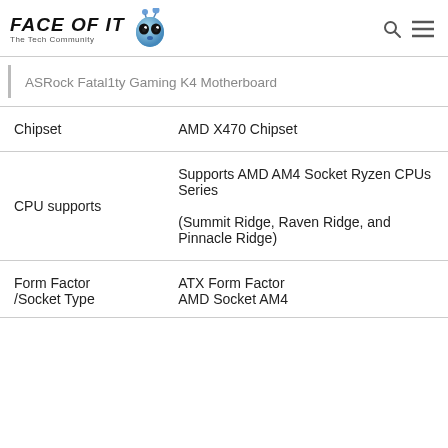FACE OF IT — The Tech Community
ASRock Fatal1ty Gaming K4 Motherboard
| Feature | Value |
| --- | --- |
| Chipset | AMD X470 Chipset |
| CPU supports | Supports AMD AM4 Socket Ryzen CPUs Series
(Summit Ridge, Raven Ridge, and Pinnacle Ridge) |
| Form Factor /Socket Type | ATX Form Factor
AMD Socket AM4 |